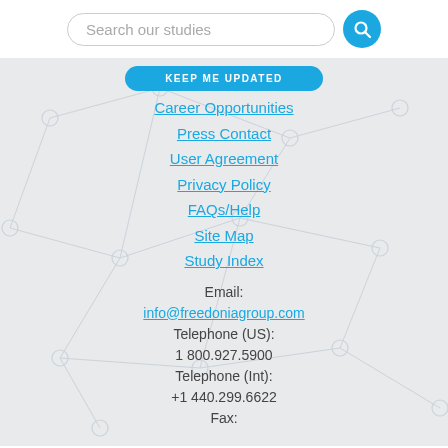[Figure (screenshot): Search bar with placeholder text 'Search our studies' and a blue circular search button with magnifying glass icon]
KEEP ME UPDATED
Career Opportunities
Press Contact
User Agreement
Privacy Policy
FAQs/Help
Site Map
Study Index
Email:
info@freedoniagroup.com
Telephone (US):
1 800.927.5900
Telephone (Int):
+1 440.299.6622
Fax: